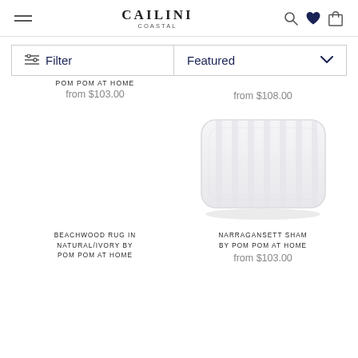CAILINI COASTAL
POM POM AT HOME from $103.00
Featured from $108.00
[Figure (illustration): White/light grey striped decorative pillow sham on white background]
BEACHWOOD RUG IN NATURAL/IVORY BY POM POM AT HOME
NARRAGANSETT SHAM BY POM POM AT HOME from $103.00